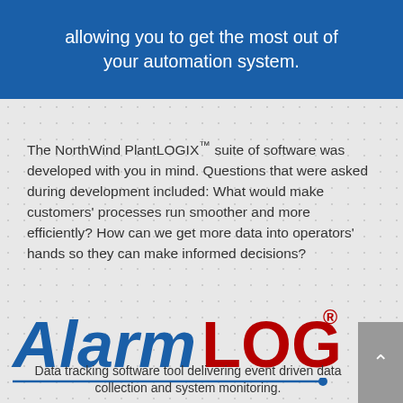allowing you to get the most out of your automation system.
The NorthWind PlantLOGIX™ suite of software was developed with you in mind. Questions that were asked during development included: What would make customers' processes run smoother and more efficiently? How can we get more data into operators' hands so they can make informed decisions?
[Figure (logo): AlarmLOGIX logo with 'Alarm' in blue bold italic and 'LOGIX' in dark red bold, with registered trademark symbol, and a blue underline ending in a blue circle dot]
Data tracking software tool delivering event driven data collection and system monitoring.